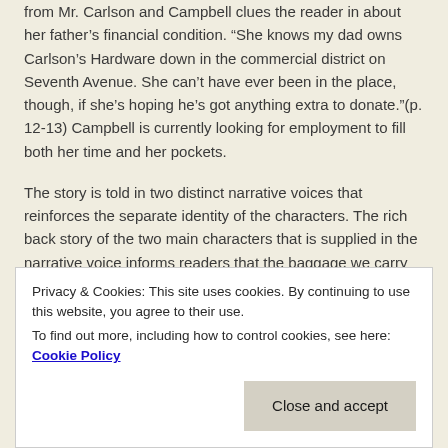from Mr. Carlson and Campbell clues the reader in about her father's financial condition. “She knows my dad owns Carlson’s Hardware down in the commercial district on Seventh Avenue. She can’t have ever been in the place, though, if she’s hoping he’s got anything extra to donate.”(p. 12-13) Campbell is currently looking for employment to fill both her time and her pockets.
The story is told in two distinct narrative voices that reinforces the separate identity of the characters. The rich back story of the two main characters that is supplied in the narrative voice informs readers that the baggage we carry into a situation creates our motives for
Privacy & Cookies: This site uses cookies. By continuing to use this website, you agree to their use.
To find out more, including how to control cookies, see here: Cookie Policy
Close and accept